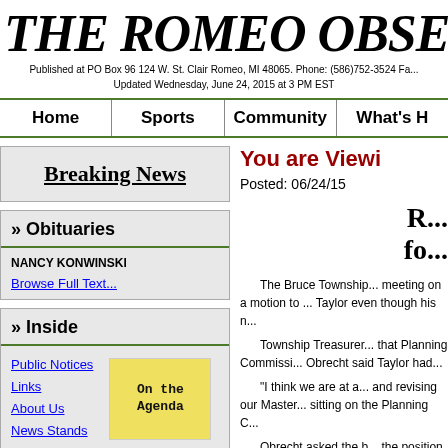THE ROMEO OBSE...
Published at PO Box 96 124 W. St. Clair Romeo, MI 48065. Phone: (586)752-3524 Fa...
Updated Wednesday, June 24, 2015 at 3 PM EST
Home | Sports | Community | What's H...
Breaking News
» Obituaries
NANCY KONWINSKI
Browse Full Text...
» Inside
Public Notices
Links
About Us
News Stands
Subscriptions
[Figure (illustration): Yellow sticky note style image reading 'On the Agenda']
You are Viewi...
Posted: 06/24/15
R... fo...
The Bruce Township... meeting on a motion to ... Taylor even though his n... Township Treasurer... that Planning Commissi... Obrecht said Taylor had... "I think we are at a... and revising our Master... sitting on the Planning C... Obrecht asked the b... the position. Scrvitto...